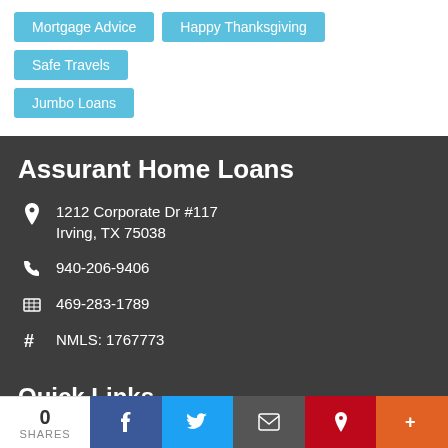Mortgage Advice
Happy Thanksgiving
Safe Travels
Jumbo Loans
Assurant Home Loans
1212 Corporate Dr #117
Irving, TX 75038
940-206-9406
469-283-1789
NMLS: 1767773
Quick Links
Licensing
Privacy Policy
0 SHARES